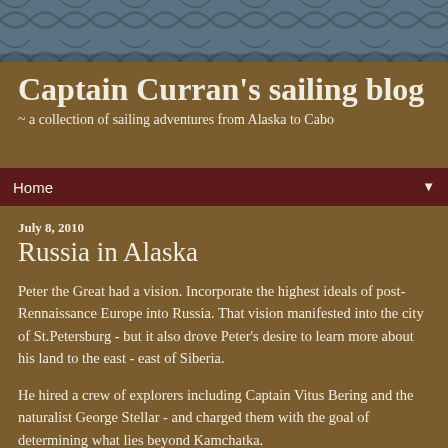[Figure (illustration): Decorative header banner with teal/slate blue background and diagonal crosshatch leaf pattern]
Captain Curran's sailing blog
~ a collection of sailing adventures from Alaska to Cabo
Home ▼
July 8, 2010
Russia in Alaska
Peter the Great had a vision. Incorporate the highest ideals of post-Rennaissance Europe into Russia. That vision manifested into the city of St.Petersburg - but it also drove Peter's desire to learn more about his land to the east - east of Siberia.
He hired a crew of explorers including Captain Vitus Bering and the naturalist George Stellar - and charged them with the goal of determining what lies beyond Kamchatka.